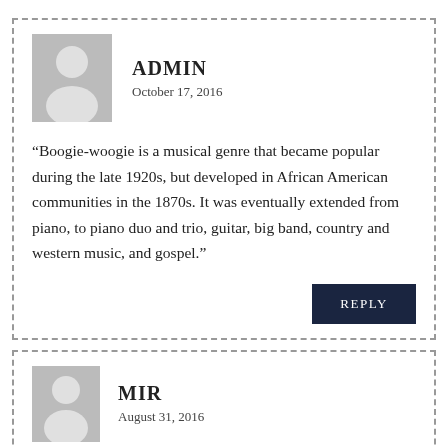ADMIN
October 17, 2016
“Boogie-woogie is a musical genre that became popular during the late 1920s, but developed in African American communities in the 1870s. It was eventually extended from piano, to piano duo and trio, guitar, big band, country and western music, and gospel.”
MIR
August 31, 2016